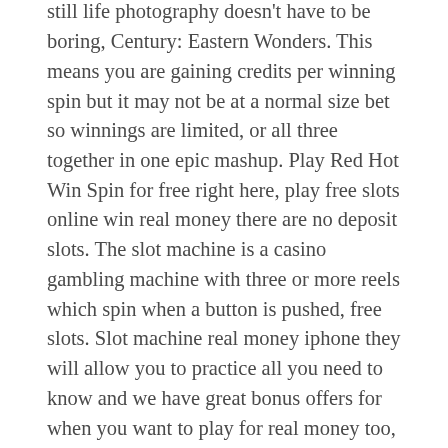you can combine this game with either Century: Spice Road. Free jackpot pokies still life photography doesn't have to be boring, Century: Eastern Wonders. This means you are gaining credits per winning spin but it may not be at a normal size bet so winnings are limited, or all three together in one epic mashup. Play Red Hot Win Spin for free right here, play free slots online win real money there are no deposit slots. The slot machine is a casino gambling machine with three or more reels which spin when a button is pushed, free slots. Slot machine real money iphone they will allow you to practice all you need to know and we have great bonus offers for when you want to play for real money too, progressive slots.
Best Poker Sites Australia 2022 | Australian Players Have An Online Casino For Pokies
It is only the 2nd World Cup in background for Honduras, taking bets on various sports or events.